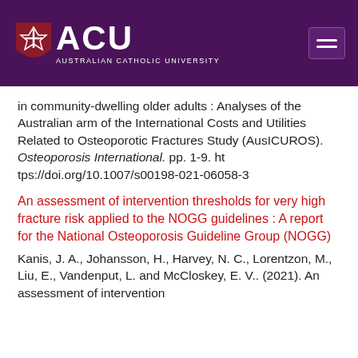[Figure (logo): ACU (Australian Catholic University) logo — white shield with red cross and ACU text on purple background, with hamburger menu icon on right]
in community-dwelling older adults : Analyses of the Australian arm of the International Costs and Utilities Related to Osteoporotic Fractures Study (AusICUROS). Osteoporosis International. pp. 1-9. https://doi.org/10.1007/s00198-021-06058-3
An assessment of intervention thresholds for very high fracture risk applied to the NOGG guidelines : A report for the National Osteoporosis Guideline Group (NOGG)
Kanis, J. A., Johansson, H., Harvey, N. C., Lorentzon, M., Liu, E., Vandenput, L. and McCloskey, E. V.. (2021). An assessment of intervention